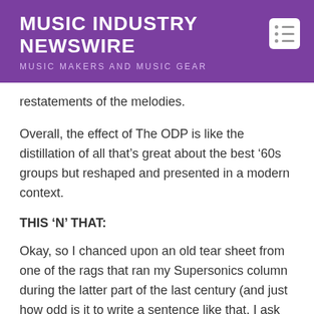MUSIC INDUSTRY NEWSWIRE
MUSIC MAKERS AND MUSIC GEAR
restatements of the melodies.
Overall, the effect of The ODP is like the distillation of all that’s great about the best ’60s groups but reshaped and presented in a modern context.
THIS ‘N’ THAT:
Okay, so I chanced upon an old tear sheet from one of the rags that ran my Supersonics column during the latter part of the last century (and just how odd is it to write a sentence like that, I ask you.) Here’s what was in just one paragraph of the column:
Switchblade Symphony was fascinating at the Key Club,